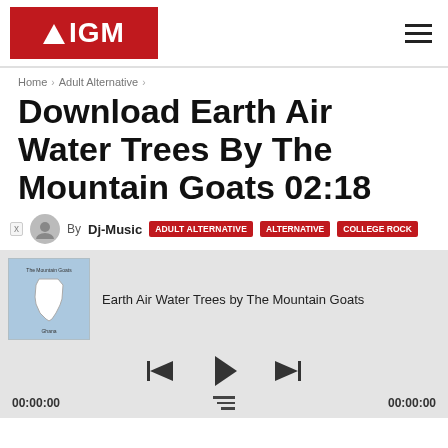AIGM
Home > Adult Alternative >
Download Earth Air Water Trees By The Mountain Goats 02:18
By Dj-Music   ADULT ALTERNATIVE   ALTERNATIVE   COLLEGE ROCK
[Figure (screenshot): Music player showing album art for 'Earth Air Water Trees by The Mountain Goats' - album art has blue background with white Ghana map outline, controls include previous, play, next. Time shown as 00:00:00 on both sides.]